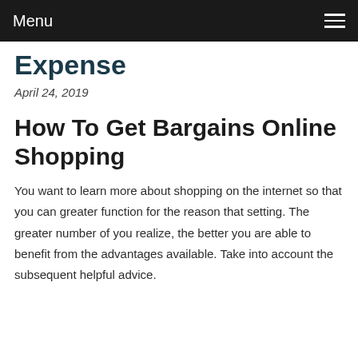Menu
Expense
April 24, 2019
How To Get Bargains Online Shopping
You want to learn more about shopping on the internet so that you can greater function for the reason that setting. The greater number of you realize, the better you are able to benefit from the advantages available. Take into account the subsequent helpful advice.